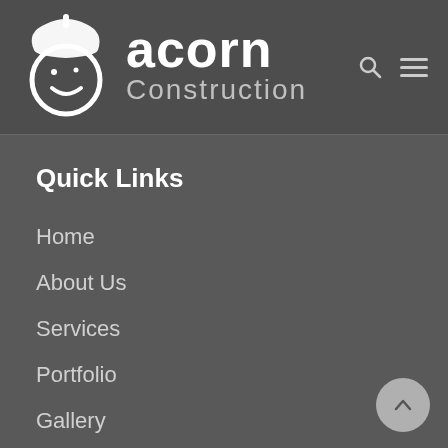[Figure (logo): Acorn Construction logo: stylized acorn face character in white with text 'acorn Construction' beside it on a dark grey header bar]
Quick Links
Home
About Us
Services
Portfolio
Gallery
→ FMB Accreditation & Award